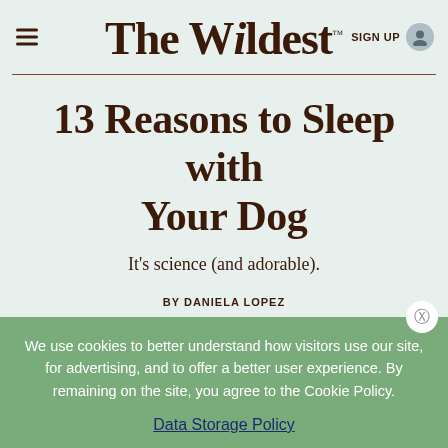The Wildest™
13 Reasons to Sleep with Your Dog
It's science (and adorable).
BY DANIELA LOPEZ
JANUARY 11, 2022
We use cookies to better understand how visitors use our site, for advertising, and to offer a better user experience. By remaining on the site, you agree to the Cookie Policy.
Data Storage Policy